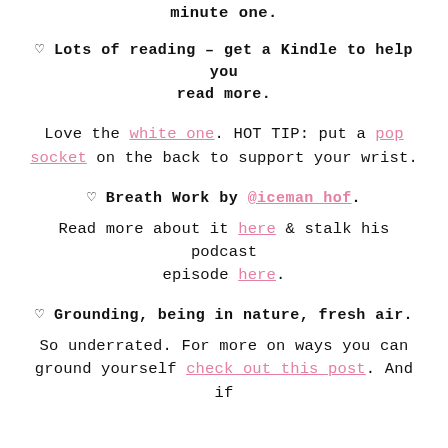minute one.
♡ Lots of reading – get a Kindle to help you read more.
Love the white_one. HOT TIP: put a pop socket on the back to support your wrist.
♡ Breath Work by @iceman_hof.
Read more about it here & stalk his podcast episode here.
♡ Grounding, being in nature, fresh air.
So underrated. For more on ways you can ground yourself check out this post. And if